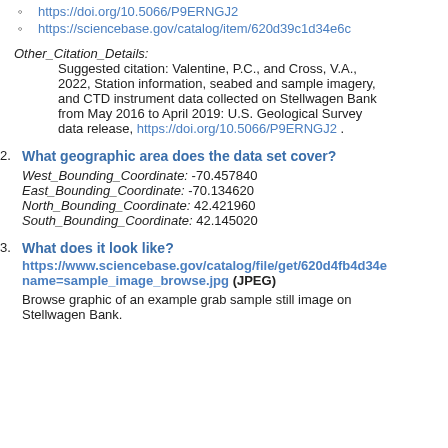https://doi.org/10.5066/P9ERNGJ2
https://sciencebase.gov/catalog/item/620d39c1d34e6c
Other_Citation_Details: Suggested citation: Valentine, P.C., and Cross, V.A., 2022, Station information, seabed and sample imagery, and CTD instrument data collected on Stellwagen Bank from May 2016 to April 2019: U.S. Geological Survey data release, https://doi.org/10.5066/P9ERNGJ2 .
2. What geographic area does the data set cover?
West_Bounding_Coordinate: -70.457840
East_Bounding_Coordinate: -70.134620
North_Bounding_Coordinate: 42.421960
South_Bounding_Coordinate: 42.145020
3. What does it look like?
https://www.sciencebase.gov/catalog/file/get/620d4fb4d34e name=sample_image_browse.jpg (JPEG)
Browse graphic of an example grab sample still image on Stellwagen Bank.